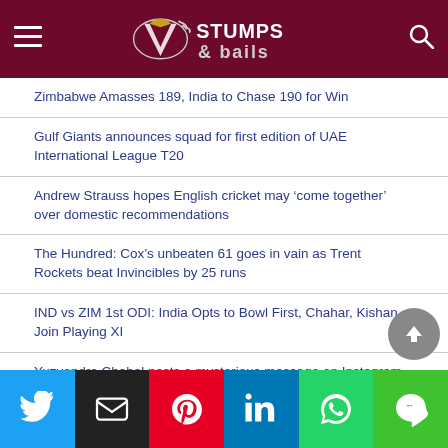Stumps & Bails
Zimbabwe Amasses 189, India to Chase 190 for Win
Gulf Giants announces squad for first edition of UAE International League T20
Andrew Strauss hopes English cricket may 'come together' over domestic recommendations
The Hundred: Cox's unbeaten 61 goes in vain as Trent Rockets beat Invincibles by 25 runs
IND vs ZIM 1st ODI: India Opts to Bowl First, Chahar, Kishan Join Playing XI
Yuzvendra Chahal posts a mysterious message on Instagram as Dhanashree changes her last name; Fans are concerned
[Figure (infographic): Social share buttons: Twitter, Email, Pinterest, LinkedIn, WhatsApp, LINE]